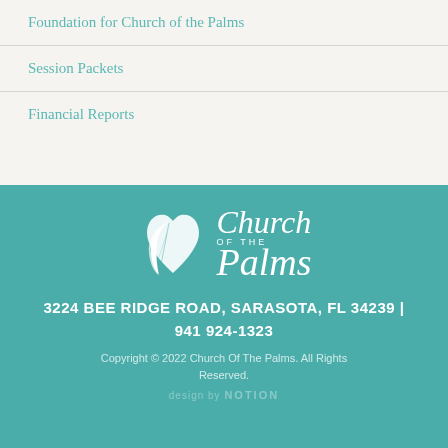Foundation for Church of the Palms
Session Packets
Financial Reports
[Figure (logo): Church of the Palms logo — white palm leaf with heart icon and script text reading 'Church of the Palms' on teal background]
3224 BEE RIDGE ROAD, SARASOTA, FL 34239 | 941 924-1323
Copyright © 2022 Church Of The Palms. All Rights Reserved.
design by NOTION